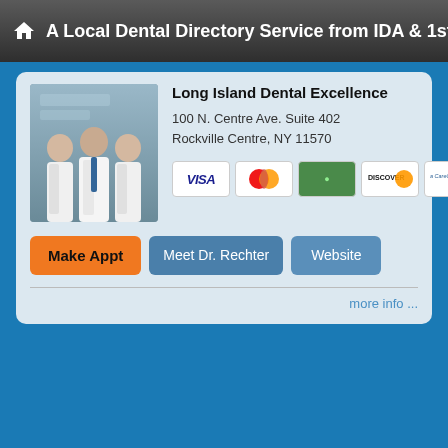A Local Dental Directory Service from IDA & 1stDentist
[Figure (photo): Three dental professionals in white coats standing together]
Long Island Dental Excellence
100 N. Centre Ave. Suite 402
Rockville Centre, NY 11570
[Figure (other): Payment method icons: VISA, MasterCard, green card, Discover, CareCredit, LendingClub]
Make Appt
Meet Dr. Rechter
Website
more info ...